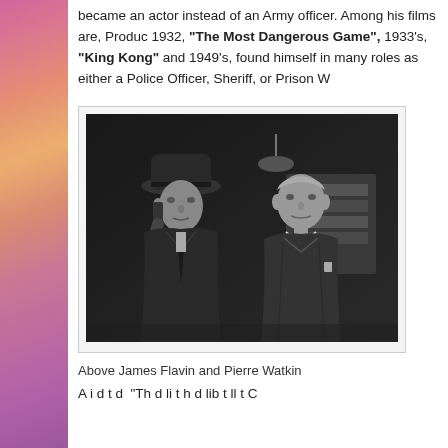became an actor instead of an Army officer. Among his films are, Produc... 1932, "The Most Dangerous Game", 1933's, "King Kong" and 1949's, ... found himself in many roles as either a Police Officer, Sheriff, or Prison W...
[Figure (photo): Black and white film still showing two men in suits. The man on the left wears a fedora hat and holds a telephone to his ear. The man on the right stands facing left. Both appear to be in an indoor setting.]
Above James Flavin and Pierre Watkin
A i d t d "Th d li t h d lib t ll t C